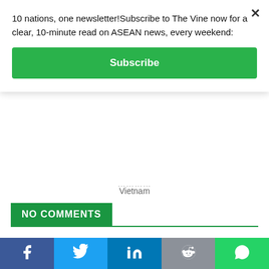10 nations, one newsletter!Subscribe to The Vine now for a clear, 10-minute read on ASEAN news, every weekend:
Subscribe
Vietnam
NO COMMENTS
Leave a Reply
Comment: